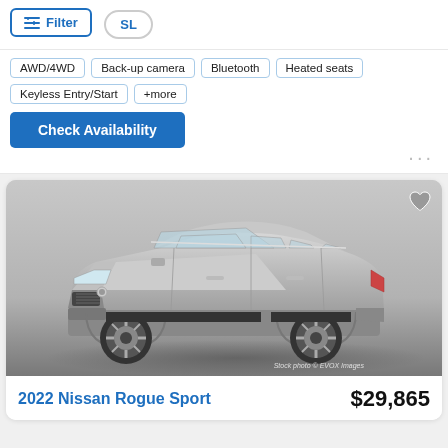Filter
SL
AWD/4WD
Back-up camera
Bluetooth
Heated seats
Keyless Entry/Start
+more
Check Availability
[Figure (photo): Silver 2022 Nissan Rogue Sport SUV shown in a 3/4 front-left view against a dark gradient background. Stock photo © EVOX Images watermark visible.]
2022 Nissan Rogue Sport
$29,865